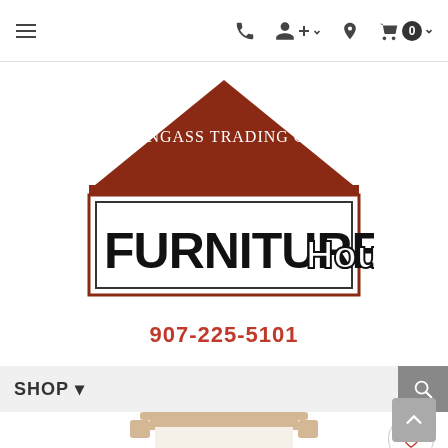Navigation bar with menu, phone, account, location, and cart icons
[Figure (logo): Tongass Trading Co. Furniture House logo — a rust/brown house triangle shape with 'Tongass Trading Co.' at the top and 'FURNITURE House' in large black text on white background below]
907-225-5101
SHOP
[Figure (photo): Partial view of a decorative wall mirror with a gold/natural wood quatrefoil-style frame, showing the top portion on a white background]